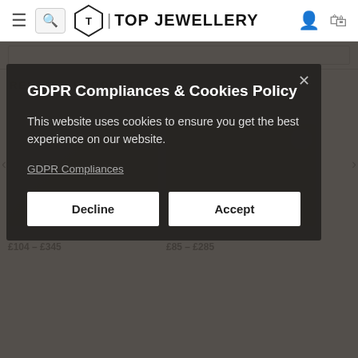TOP JEWELLERY
RELATED PRODUCTS
GDPR Compliances & Cookies Policy
This website uses cookies to ensure you get the best experience on our website.
GDPR Compliances
Decline
Accept
Flat Shaped Wedding Band – 2.5 mm
£104 – £345
D-Shape Wedding Band – 2 mm
£85 – £285